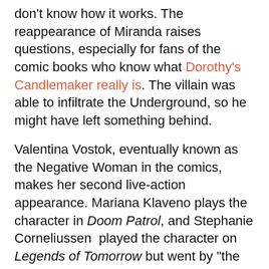don't know how it works. The reappearance of Miranda raises questions, especially for fans of the comic books who know what Dorothy's Candlemaker really is. The villain was able to infiltrate the Underground, so he might have left something behind.
Valentina Vostok, eventually known as the Negative Woman in the comics, makes her second live-action appearance. Mariana Klaveno plays the character in Doom Patrol, and Stephanie Corneliussen played the character on Legends of Tomorrow but went by "the Soviet Firestorm." Either way, she has fully bonded with her Negative Spirit but also seemingly given up her humanity. Larry is not so keen to do that, so it means we've likely not seen the last of his